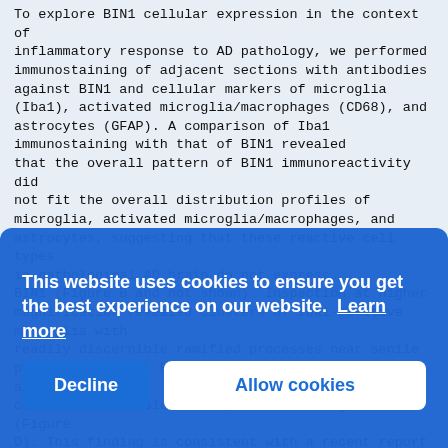To explore BIN1 cellular expression in the context of inflammatory response to AD pathology, we performed immunostaining of adjacent sections with antibodies against BIN1 and cellular markers of microglia (Iba1), activated microglia/macrophages (CD68), and astrocytes (GFAP). A comparison of Iba1 immunostaining with that of BIN1 revealed that the overall pattern of BIN1 immunoreactivity did not fit the overall distribution profiles of microglia, activated microglia/macrophages, and astrocytes, suggesting that these reactive cell types in pathological AD brain do not express BIN1 (Figure B and not shown). Inspection at higher magnification revealed clusters of Iba1-positive microglia with readily discernible ramified processes near senile plaques. However, BIN1 immunoreactivity was not associated with cells that resembled Iba1-positive microglia (Figure D). This finding is consistent with a recent report showing little evidence for microglial expression of BIN1 in the human (non-AD) and mouse brain(De Rossi, 2016[4]). Moreover, a comparison of the morphology of cells positive for CD68 immunoreactivity with cells positive for BIN1 immunoreactivity, suggesting the lack of BIN1 expression in activated microglia, macrophages, and astrocytes (not shown). These results imply that BIN1 is unlikely to be involved in the inflammatory processes associated with pathogenesis in AD. Our findings that BIN1 protein is not detected in ramified
[Figure (other): Cookie consent banner overlay with blue background. Text reads 'This website uses cookies to ensure you get the best experience on our website. Learn more' with 'Decline' and 'Allow cookies' buttons.]